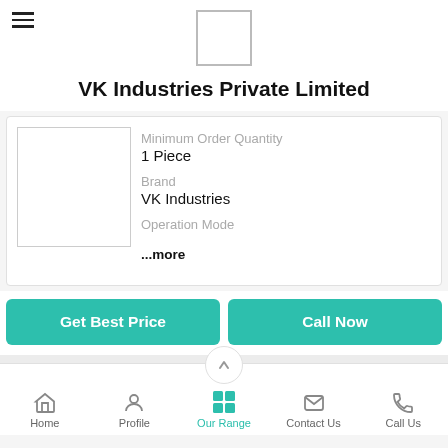VK Industries Private Limited
VK Industries Private Limited
Minimum Order Quantity
1 Piece

Brand
VK Industries

Operation Mode
...more
Get Best Price
Call Now
Home  Profile  Our Range  Contact Us  Call Us